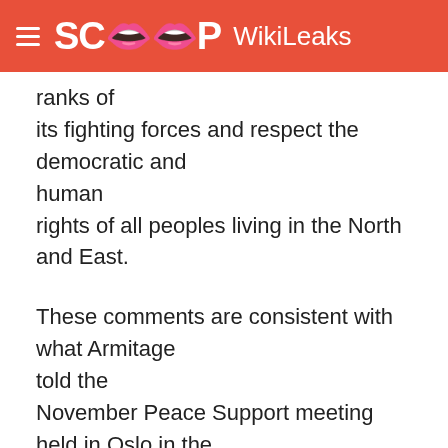SCOOP WikiLeaks
ranks of its fighting forces and respect the democratic and human rights of all peoples living in the North and East.
These comments are consistent with what Armitage told the November Peace Support meeting held in Oslo in the presence of the LTTE's theoretician Anton Balasingham.
They are also in line with the international community's new resolve to act against terror in all forms